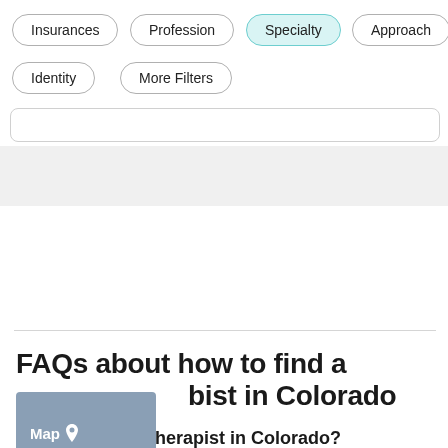Insurances
Profession
Specialty
Approach
Identity
More Filters
FAQs about how to find a therapist in Colorado
How do I find a therapist in Colorado?